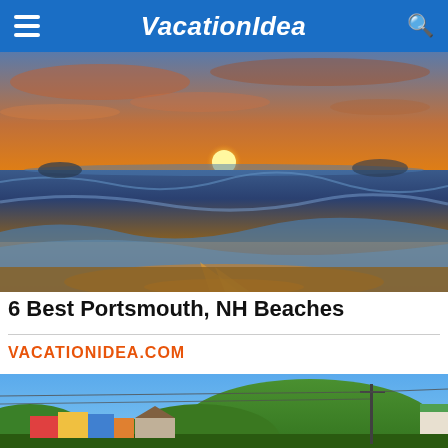VacationIdea
[Figure (photo): Beach sunset with orange and pink sky reflected on wet sand, ocean waves in the foreground]
6 Best Portsmouth, NH Beaches
VACATIONIDEA.COM
[Figure (photo): Coastal town scene with colorful buildings, power lines, and a green mountain in the background under a clear blue sky]